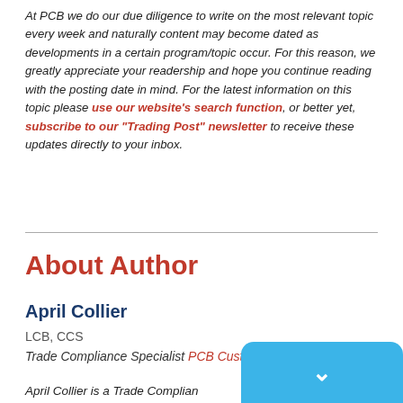At PCB we do our due diligence to write on the most relevant topic every week and naturally content may become dated as developments in a certain program/topic occur. For this reason, we greatly appreciate your readership and hope you continue reading with the posting date in mind. For the latest information on this topic please use our website's search function, or better yet, subscribe to our "Trading Post" newsletter to receive these updates directly to your inbox.
About Author
April Collier
LCB, CCS
Trade Compliance Specialist PCB Customs Brokers
April Collier is a Trade Complian...